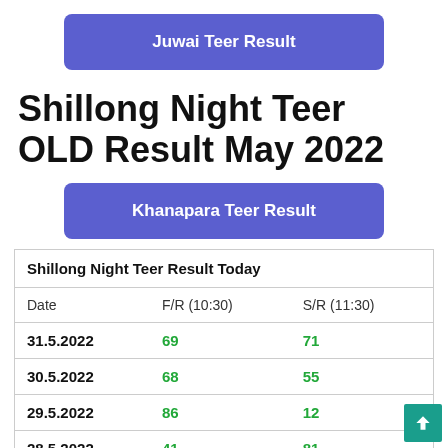[Figure (other): Purple button labeled 'Juwai Teer Result']
Shillong Night Teer OLD Result May 2022
[Figure (other): Purple button labeled 'Khanapara Teer Result']
| Shillong Night Teer Result Today |  |  |
| --- | --- | --- |
| Date | F/R (10:30) | S/R (11:30) |
| 31.5.2022 | 69 | 71 |
| 30.5.2022 | 68 | 55 |
| 29.5.2022 | 86 | 12 |
| 28.5.2022 | 41 | 81 |